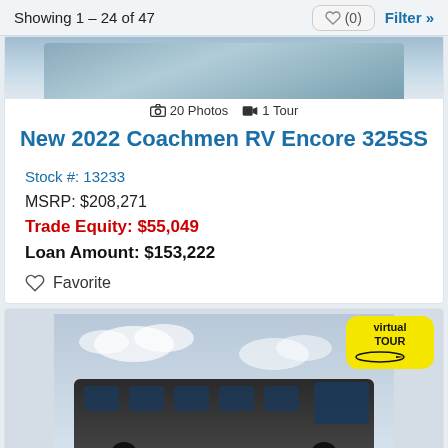Showing 1 – 24 of 47
[Figure (photo): Partial top of RV vehicle image]
📷 20 Photos  📹 1 Tour
New 2022 Coachmen RV Encore 325SS
Stock #: 13233
MSRP: $208,271
Trade Equity: $55,049
Loan Amount: $153,222
Favorite
[Figure (photo): Front view of a black motorhome/bus-style RV against a cloudy sky, labeled with Virtual Tour badge]